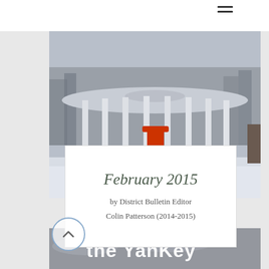[Figure (photo): Hamburger/menu icon in top navigation bar]
[Figure (photo): Winter photo of a white gazebo bandstand with red sculpture inside, surrounded by snow and bare trees]
February 2015
by District Bulletin Editor
Colin Patterson (2014-2015)
[Figure (photo): Bottom strip photo showing snow/ground with text 'the YanKey' overlaid in white bold letters, with a circular up-arrow navigation button]